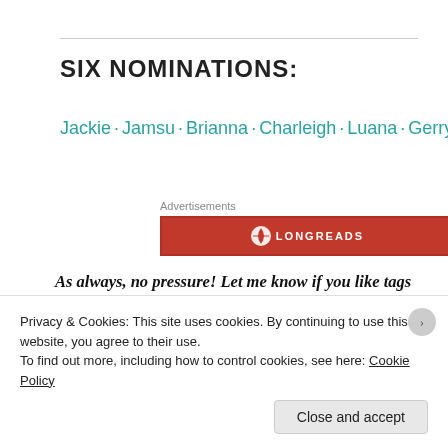SIX NOMINATIONS:
Jackie · Jamsu · Brianna · Charleigh · Luana · Gerry
[Figure (other): Longreads advertisement banner in red with Longreads logo and text]
As always, no pressure! Let me know if you like tags and also if you hate them. Feel free to tag yourself, too, if this looks like fun to you! And don't forget to link back to this post so I'll get a
Privacy & Cookies: This site uses cookies. By continuing to use this website, you agree to their use.
To find out more, including how to control cookies, see here: Cookie Policy
Close and accept